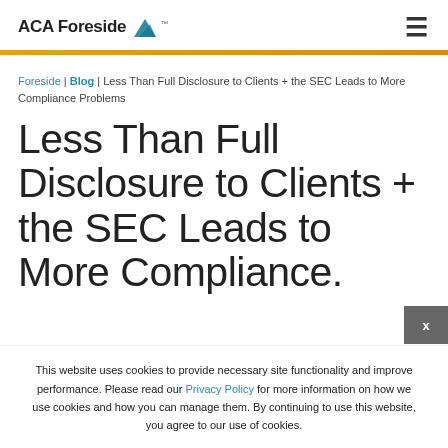ACA Foreside [logo] [hamburger menu]
Foreside | Blog | Less Than Full Disclosure to Clients + the SEC Leads to More Compliance Problems
Less Than Full Disclosure to Clients + the SEC Leads to More Compliance.
This website uses cookies to provide necessary site functionality and improve performance. Please read our Privacy Policy for more information on how we use cookies and how you can manage them. By continuing to use this website, you agree to our use of cookies.